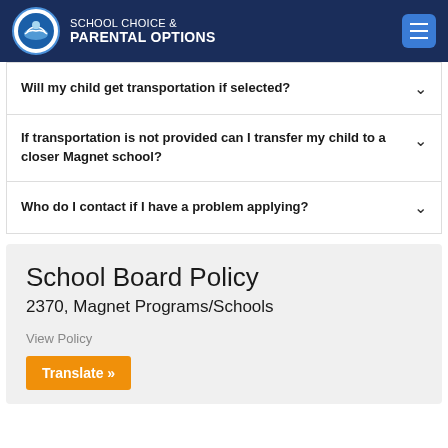SCHOOL CHOICE & PARENTAL OPTIONS
Will my child get transportation if selected?
If transportation is not provided can I transfer my child to a closer Magnet school?
Who do I contact if I have a problem applying?
School Board Policy
2370, Magnet Programs/Schools
View Policy
Translate »